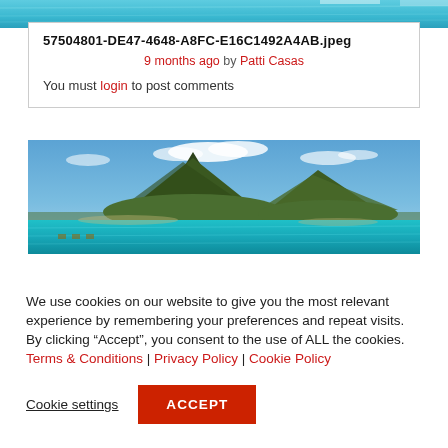[Figure (photo): Partial view of a tropical pool with turquoise water at the top of the page]
57504801-DE47-4648-A8FC-E16C1492A4AB.jpeg
9 months ago by Patti Casas
You must login to post comments
[Figure (photo): Aerial panoramic view of Bora Bora island with a dramatic green mountain peak, turquoise lagoon, and white sandy shores under a blue sky with clouds]
We use cookies on our website to give you the most relevant experience by remembering your preferences and repeat visits. By clicking "Accept", you consent to the use of ALL the cookies. Terms & Conditions | Privacy Policy | Cookie Policy
Cookie settings   ACCEPT